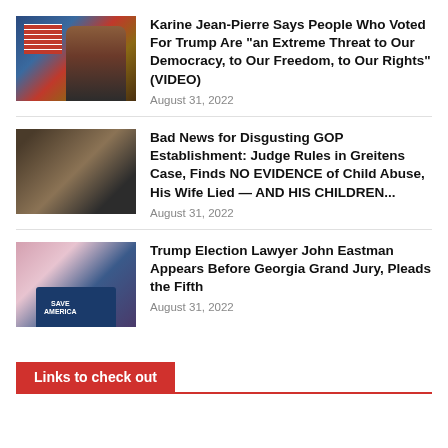[Figure (photo): Photo of Karine Jean-Pierre at a White House podium with US flag in background]
Karine Jean-Pierre Says People Who Voted For Trump Are "an Extreme Threat to Our Democracy, to Our Freedom, to Our Rights" (VIDEO)
August 31, 2022
[Figure (photo): Photo of Eric Greitens in a dark jacket against a blurred background]
Bad News for Disgusting GOP Establishment: Judge Rules in Greitens Case, Finds NO EVIDENCE of Child Abuse, His Wife Lied — AND HIS CHILDREN...
August 31, 2022
[Figure (photo): Photo of two men at a Save America podium with flags in background]
Trump Election Lawyer John Eastman Appears Before Georgia Grand Jury, Pleads the Fifth
August 31, 2022
Links to check out